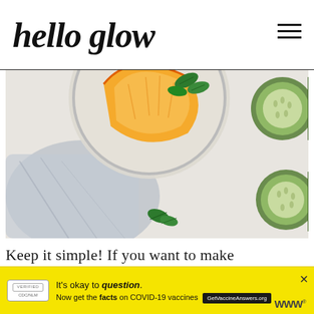hello glow
[Figure (photo): Top-down view of a glass with orange slices, mint leaves, and cucumber slices, with a grey cloth and cucumber slices scattered on a white surface]
Keep it simple! If you want to make
[Figure (infographic): Ad banner: It's okay to question. Now get the facts on COVID-19 vaccines. GetVaccineAnswers.org]